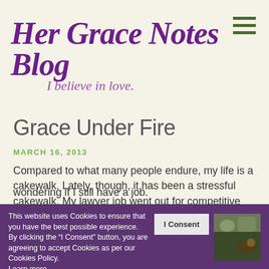[Figure (logo): Her Grace Notes Blog logo with cursive purple text and subtitle 'I believe in love.' with green hamburger menu icon top right]
Grace Under Fire
MARCH 16, 2013
Compared to what many people endure, my life is a cakewalk. Lately, though, it has been a stressful cakewalk. My lawyer job went out for competitive bid, which it has done periodically for the past twenty years. Each time, I tell myself, “I am not putting myself through this again….” because the procurement process will pluck the last nerve of a cast iron saint.
wondering if I still have a job.
This website uses Cookies to ensure that you have the best possible experience. By clicking the “I Consent” button, you are agreeing to accept Cookies as per our Cookies Policy. Learn more